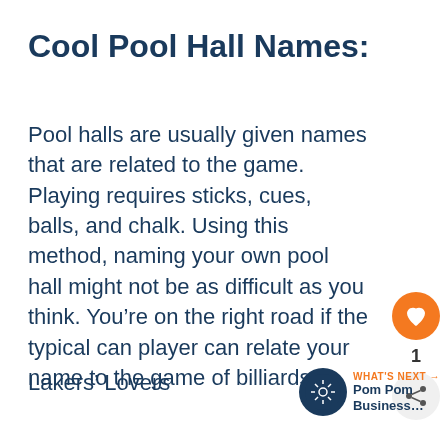Cool Pool Hall Names:
Pool halls are usually given names that are related to the game. Playing requires sticks, cues, balls, and chalk. Using this method, naming your own pool hall might not be as difficult as you think. You’re on the right road if the typical can player can relate your name to the game of billiards.
Lakers’ Lovers